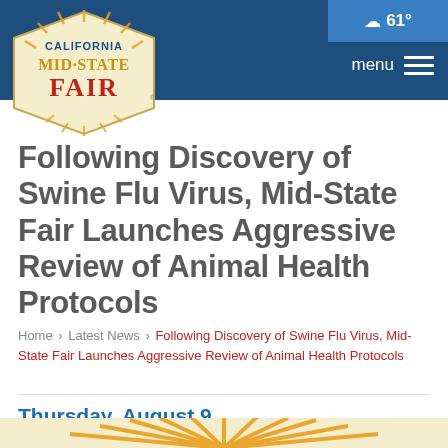☁ 61° | menu
[Figure (logo): California Mid-State Fair logo — cream/tan badge shape with sunburst rays, 'CALIFORNIA' in blue arc at top, 'MID STATE' in gold letters, 'FAIR' in red bold letters]
Following Discovery of Swine Flu Virus, Mid-State Fair Launches Aggressive Review of Animal Health Protocols
Home › Latest News › Following Discovery of Swine Flu Virus, Mid-State Fair Launches Aggressive Review of Animal Health Protocols
Thursday, August 9
[Figure (illustration): Bottom portion of California Mid-State Fair logo showing orange/gold sunburst rays at bottom edge of page]